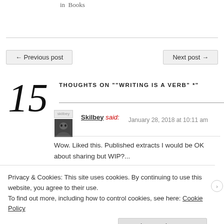in  Books
← Previous post
Next post →
15 THOUGHTS ON "“WRITING IS A VERB” *"
Skilbey said:  January 28, 2018 at 10:11 am
Wow. Liked this. Published extracts I would be OK about sharing but WIP?...
Privacy & Cookies: This site uses cookies. By continuing to use this website, you agree to their use.
To find out more, including how to control cookies, see here: Cookie Policy
Close and accept
Post on the go.